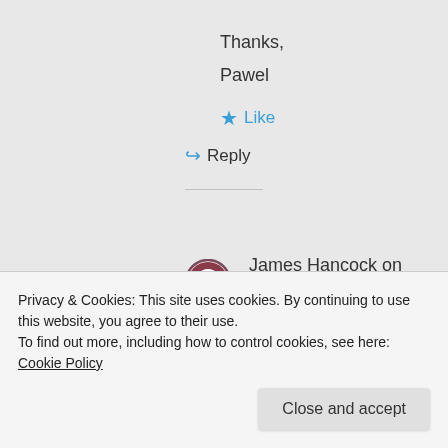Thanks,
Pawel
★ Like
↳ Reply
James Hancock on June 6, 2014 at 2:22 pm
Privacy & Cookies: This site uses cookies. By continuing to use this website, you agree to their use.
To find out more, including how to control cookies, see here: Cookie Policy
Close and accept